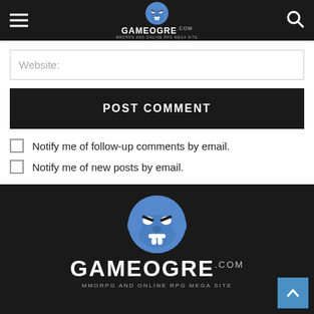GameOgre.com - MMORPG And Online RPG Mega Site
Website:
POST COMMENT
Notify me of follow-up comments by email.
Notify me of new posts by email.
GameOgre.com - MMORPG And Online RPG Mega Site